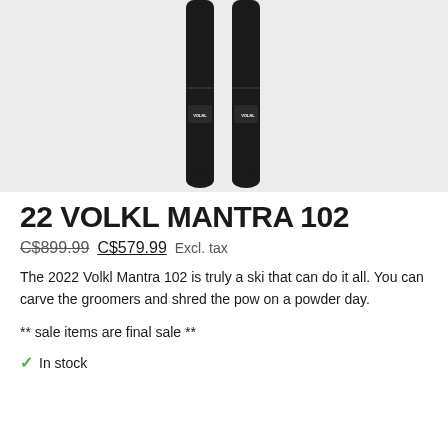[Figure (photo): Two dark/black Volkl skis shown vertically on a light gray background, with VOLKL branding visible near the tips.]
22 VOLKL MANTRA 102
C$899.99 C$579.99 Excl. tax
The 2022 Volkl Mantra 102 is truly a ski that can do it all. You can carve the groomers and shred the pow on a powder day.
** sale items are final sale **
In stock